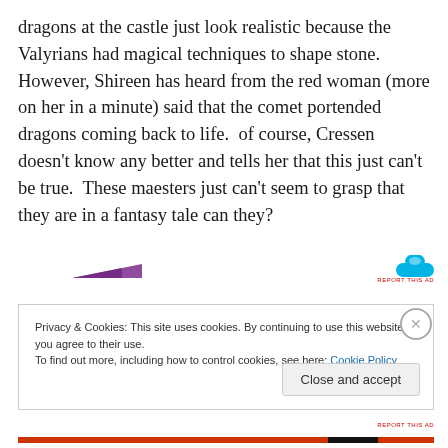dragons at the castle just look realistic because the Valyrians had magical techniques to shape stone. However, Shireen has heard from the red woman (more on her in a minute) said that the comet portended dragons coming back to life.  of course, Cressen doesn't know any better and tells her that this just can't be true.  These maesters just can't seem to grasp that they are in a fantasy tale can they?
[Figure (other): Advertisement banner with purple logo on left and blue icon on right with 'REPORT THIS AD' text]
Privacy & Cookies: This site uses cookies. By continuing to use this website, you agree to their use.
To find out more, including how to control cookies, see here: Cookie Policy
Close and accept